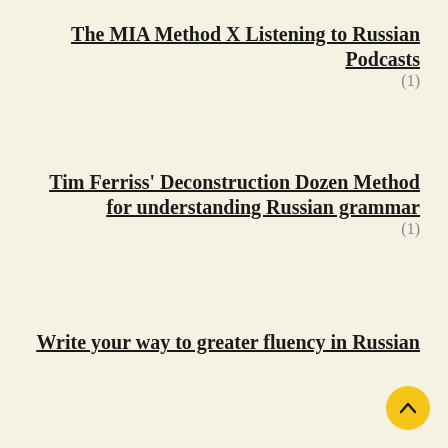The MIA Method X Listening to Russian Podcasts
(1)
Tim Ferriss' Deconstruction Dozen Method for understanding Russian grammar
(1)
Write your way to greater fluency in Russian